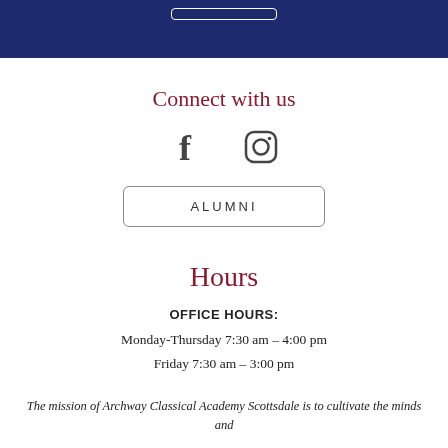Connect with us
[Figure (illustration): Facebook and Instagram social media icons]
ALUMNI
Hours
OFFICE HOURS:
Monday-Thursday 7:30 am – 4:00 pm
Friday 7:30 am – 3:00 pm
The mission of Archway Classical Academy Scottsdale is to cultivate the minds and